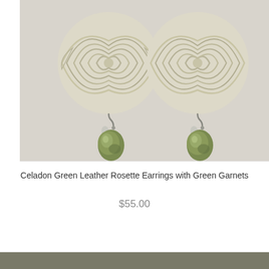[Figure (photo): Two cream/beige leather rosette earrings with intricate coiled/woven circular tops and dangling oval green garnet stones on silver hooks, photographed on a light textured background.]
Celadon Green Leather Rosette Earrings with Green Garnets
$55.00